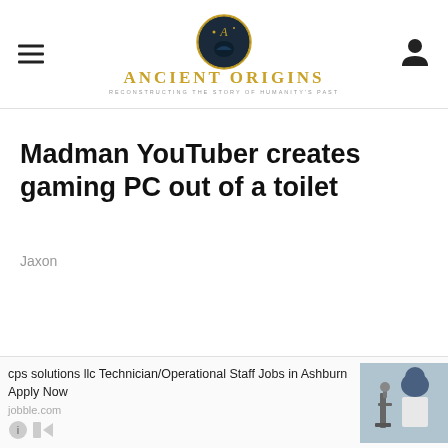Ancient Origins — Reconstructing the story of humanity's past
Madman YouTuber creates gaming PC out of a toilet
Jaxon
cps solutions llc Technician/Operational Staff Jobs in Ashburn Apply Now
jobble.com